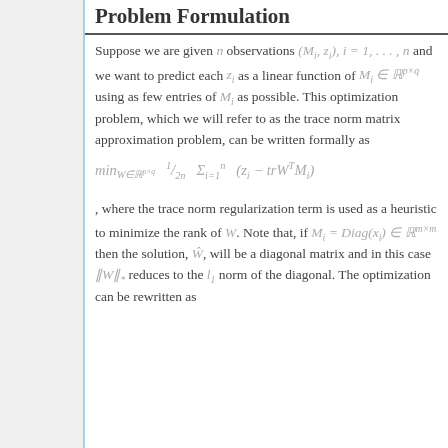Problem Formulation
Suppose we are given n observations (M_i, z_i), i = 1, ..., n and we want to predict each z_i as a linear function of M_i ∈ ℝ^{p×q} using as few entries of M_i as possible. This optimization problem, which we will refer to as the trace norm matrix approximation problem, can be written formally as
, where the trace norm regularization term is used as a heuristic to minimize the rank of W. Note that, if M_i = Diag(x_i) ∈ ℝ^{m×m} then the solution, Ŵ, will be a diagonal matrix and in this case ‖W‖_* reduces to the l_1 norm of the diagonal. The optimization can be rewritten as